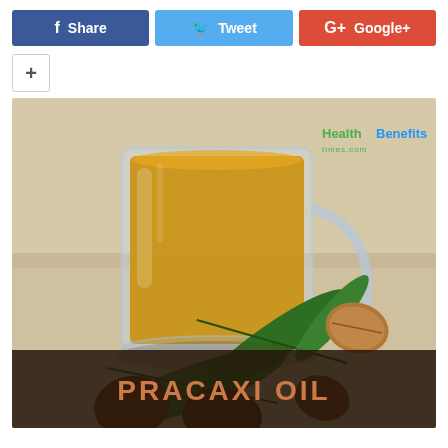[Figure (other): Social sharing buttons: Facebook Share (blue), Twitter Tweet (light blue), Google+ Google+ (red)]
[Figure (other): Plus/add button with a + symbol, white background with grey border]
[Figure (photo): Photo of pracaxi oil in a glass pitcher/mug with green leaves and brown nuts/seeds around it, on a light beige surface. Watermark reads 'HealthBenefits times.com'. Bottom overlay bar reads 'PRACAXI OIL' in orange bold text on dark brown background.]